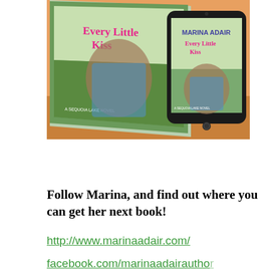[Figure (photo): Book cover and tablet display of 'Every Little Kiss' by Marina Adair, a Sequoia Lake Novel. Shows a couple embracing on the physical book cover and on a tablet screen, set against a warm wooden background.]
Follow Marina, and find out where you can get her next book!
http://www.marinaadair.com/
facebook.com/marinaadairauthor